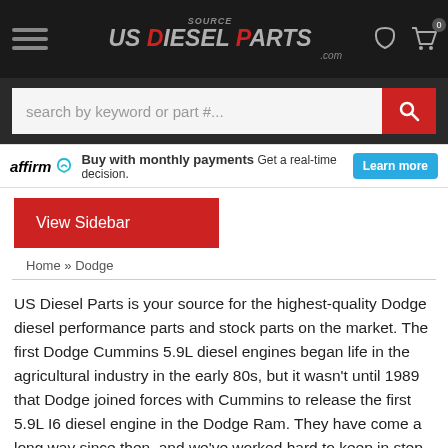[Figure (screenshot): US Diesel Parts website navigation bar with logo, hamburger menu, phone and cart icons]
[Figure (screenshot): Search bar with placeholder text 'search by keyword or part #...' and red search button]
[Figure (screenshot): Affirm banner: Buy with monthly payments, Get a real-time decision, Learn more button]
View Sidebar
Home » Dodge
US Diesel Parts is your source for the highest-quality Dodge diesel performance parts and stock parts on the market. The first Dodge Cummins 5.9L diesel engines began life in the agricultural industry in the early 80s, but it wasn't until 1989 that Dodge joined forces with Cummins to release the first 5.9L I6 diesel engine in the Dodge Ram. They have come a long way since then, and we've worked hard to keep in step with the advancing technology. We still rebuild the Bosch VE6 injection pumps and injectors from the 89-93